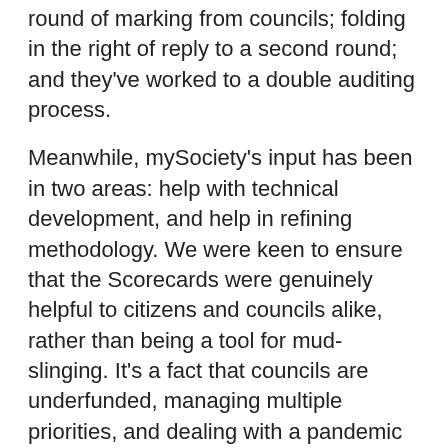round of marking from councils; folding in the right of reply to a second round; and they've worked to a double auditing process.
Meanwhile, mySociety's input has been in two areas: help with technical development, and help in refining methodology. We were keen to ensure that the Scorecards were genuinely helpful to citizens and councils alike, rather than being a tool for mud-slinging. It's a fact that councils are underfunded, managing multiple priorities, and dealing with a pandemic while trying to tackle their responsibilities in the face of the climate emergency.
We see public climate action plans as part of the conversation between citizens and government about how we can tackle this crisis together. Any public plan can be a starting point for discussion where we hope that councils and citizens will both ask themselves,